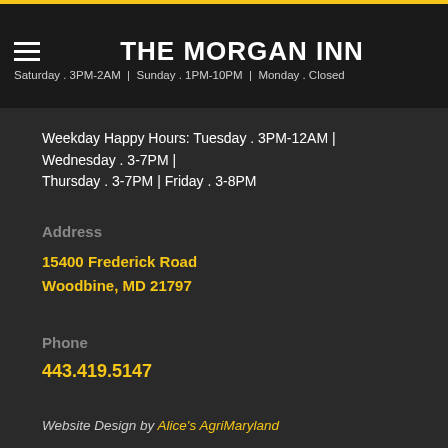THE MORGAN INN | Saturday . 3PM-2AM | Sunday . 1PM-10PM | Monday . Closed
Weekday Happy Hours: Tuesday . 3PM-12AM | Wednesday . 3-7PM | Thursday . 3-7PM | Friday . 3-8PM
Address
15400 Frederick Road
Woodbine, MD 21797
Phone
443.419.5147
Website Design by Alice's AgriMaryland